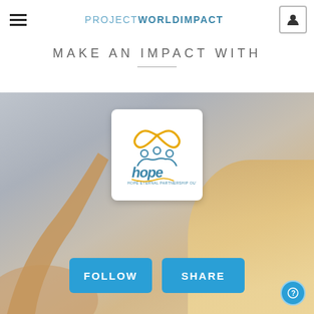PROJECT WORLD IMPACT
MAKE AN IMPACT WITH
[Figure (screenshot): Website screenshot showing a Project World Impact page with a HOPE (Hope Eternal Partnership Outcomes) organization logo card centered over a photo background of a person with arms raised, with FOLLOW and SHARE buttons below and a help circle icon in the bottom right.]